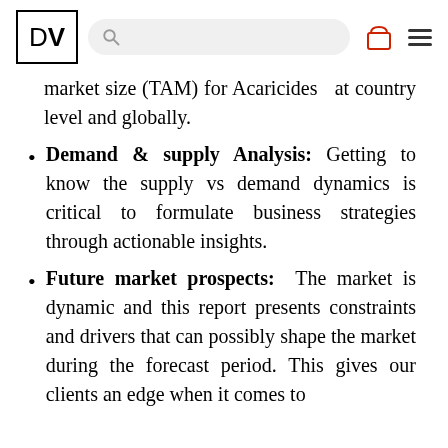DV [logo] [search bar] [bag icon] [menu icon]
market size (TAM) for Acaricides  at country level and globally.
Demand & supply Analysis: Getting to know the supply vs demand dynamics is critical to formulate business strategies through actionable insights.
Future market prospects: The market is dynamic and this report presents constraints and drivers that can possibly shape the market during the forecast period. This gives our clients an edge when it comes to